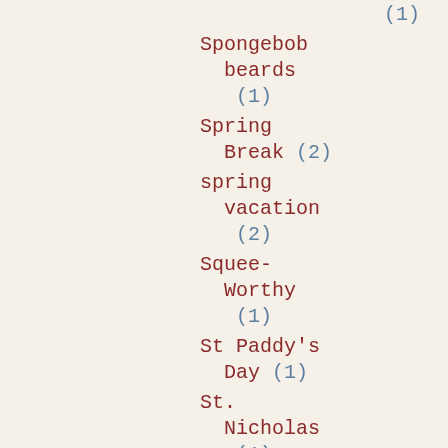(1)
Spongebob beards (1)
Spring Break (2)
spring vacation (2)
Squee-Worthy (1)
St Paddy's Day (1)
St. Nicholas (1)
Stache of